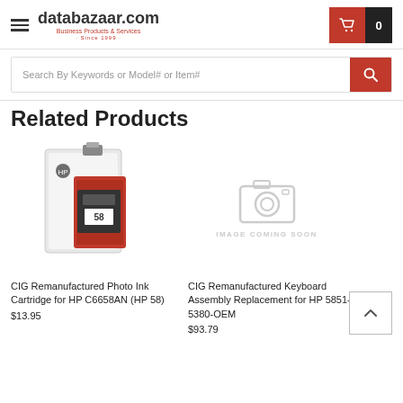[Figure (logo): databazaar.com logo with hamburger menu icon on left and shopping cart icon on right]
Search By Keywords or Model# or Item#
Related Products
[Figure (photo): CIG Remanufactured Photo Ink Cartridge product photo showing ink cartridge box and cartridge]
CIG Remanufactured Photo Ink Cartridge for HP C6658AN (HP 58)
$13.95
[Figure (photo): IMAGE COMING SOON placeholder with camera icon]
CIG Remanufactured Keyboard Assembly Replacement for HP 5851-5380-OEM
$93.79